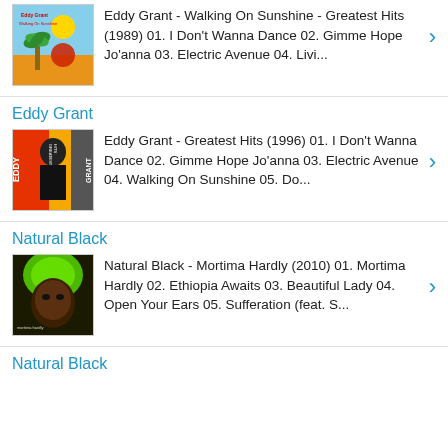Eddy Grant
Eddy Grant - Walking On Sunshine - Greatest Hits (1989) 01. I Don't Wanna Dance 02. Gimme Hope Jo'anna 03. Electric Avenue 04. Livi...
Eddy Grant
Eddy Grant - Greatest Hits (1996) 01. I Don't Wanna Dance 02. Gimme Hope Jo'anna 03. Electric Avenue 04. Walking On Sunshine 05. Do...
Natural Black
Natural Black - Mortima Hardly (2010) 01. Mortima Hardly 02. Ethiopia Awaits 03. Beautiful Lady 04. Open Your Ears 05. Sufferation (feat. S...
Natural Black